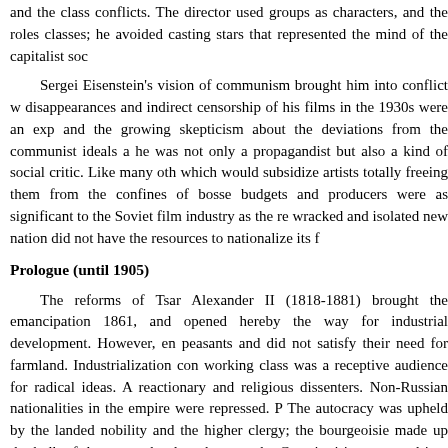and the class conflicts. The director used groups as characters, and the roles classes; he avoided casting stars that represented the mind of the capitalist soc
Sergei Eisenstein's vision of communism brought him into conflict w disappearances and indirect censorship of his films in the 1930s were an exp and the growing skepticism about the deviations from the communist ideals a he was not only a propagandist but also a kind of social critic. Like many oth which would subsidize artists totally freeing them from the confines of bosse budgets and producers were as significant to the Soviet film industry as the re wracked and isolated new nation did not have the resources to nationalize its f
Prologue (until 1905)
The reforms of Tsar Alexander II (1818-1881) brought the emancipation 1861, and opened hereby the way for industrial development. However, en peasants and did not satisfy their need for farmland. Industrialization con working class was a receptive audience for radical ideas. A reactionary and religious dissenters. Non-Russian nationalities in the empire were repressed. P The autocracy was upheld by the landed nobility and the higher clergy; the bourgeoisie made up the bulk of the group that later became the Constituti incorporated into the Socialist Revolutionary Party; and the workers, influen Menshevik wings of the Social Democratic Labor Party. One thing, however reality of Russian society in the early 1900s. The working conditions of the in though their earnings increased and thereby welfare. Furthermore, the soc Nicholas II (1868-1918) and the rest of the political elite. If riots or strikes c